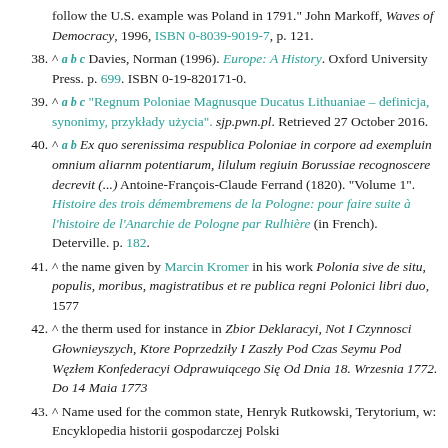follow the U.S. example was Poland in 1791." John Markoff, Waves of Democracy, 1996, ISBN 0-8039-9019-7, p. 121.
38. ^ a b c Davies, Norman (1996). Europe: A History. Oxford University Press. p. 699. ISBN 0-19-820171-0.
39. ^ a b c "Regnum Poloniae Magnusque Ducatus Lithuaniae – definicja, synonimy, przykłady użycia". sjp.pwn.pl. Retrieved 27 October 2016.
40. ^ a b Ex quo serenissima respublica Poloniae in corpore ad exempluin omnium aliarnm potentiarum, lilulum regiuin Borussiae recognoscere decrevit (...) Antoine-François-Claude Ferrand (1820). "Volume 1". Histoire des trois démembremens de la Pologne: pour faire suite à l'histoire de l'Anarchie de Pologne par Rulhière (in French). Deterville. p. 182.
41. ^ the name given by Marcin Kromer in his work Polonia sive de situ, populis, moribus, magistratibus et re publica regni Polonici libri duo, 1577
42. ^ the therm used for instance in Zbior Deklaracyi, Not I Czynnosci Głownieyszych, Ktore Poprzedziły I Zaszły Pod Czas Seymu Pod Węzłem Konfederacyi Odprawuiqcego Się Od Dnia 18. Wrzesnia 1772. Do 14 Maia 1773
43. ^ Name used for the common state, Henryk Rutkowski, Terytorium, w: Encyklopedia historii gospodarczej Polski